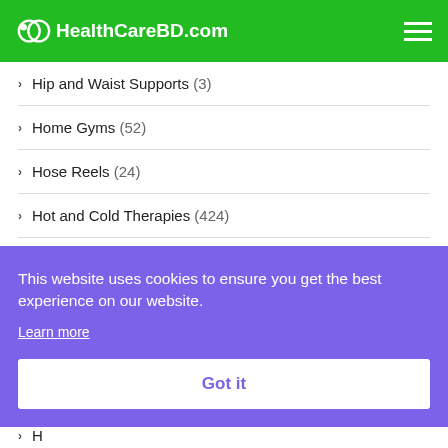HealthCareBD.com
Hip and Waist Supports (3)
Home Gyms (52)
Hose Reels (24)
Hot and Cold Therapies (424)
H...
H...
H...
H...
H...
Hunting and Fishing (6)
This website uses cookies to ensure you get the best experience on our website. Learn more. Got it.